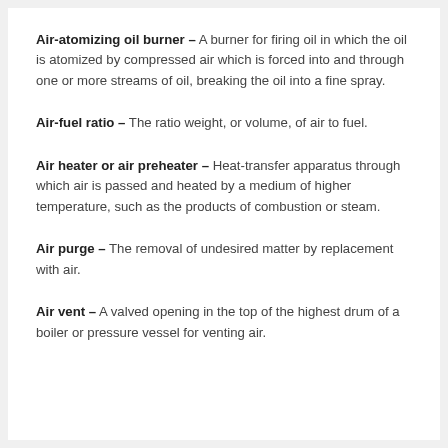Air-atomizing oil burner – A burner for firing oil in which the oil is atomized by compressed air which is forced into and through one or more streams of oil, breaking the oil into a fine spray.
Air-fuel ratio – The ratio weight, or volume, of air to fuel.
Air heater or air preheater – Heat-transfer apparatus through which air is passed and heated by a medium of higher temperature, such as the products of combustion or steam.
Air purge – The removal of undesired matter by replacement with air.
Air vent – A valved opening in the top of the highest drum of a boiler or pressure vessel for venting air.